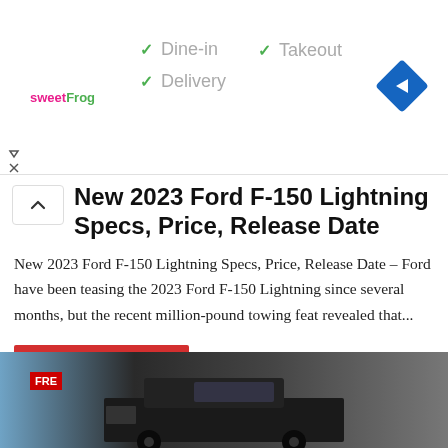[Figure (other): Advertisement banner for sweetFrog with checkmarks for Dine-in, Takeout, Delivery and a blue navigation arrow icon]
New 2023 Ford F-150 Lightning Specs, Price, Release Date
New 2023 Ford F-150 Lightning Specs, Price, Release Date – Ford have been teasing the 2023 Ford F-150 Lightning since several months, but the recent million-pound towing feat revealed that...
Continue reading »
[Figure (photo): Photograph of a Ford F-150 truck at a gas station or industrial setting, dark colored vehicle with a red sign visible in the background]